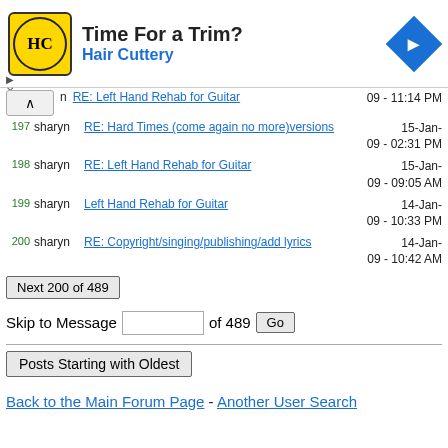[Figure (advertisement): Hair Cuttery advertisement banner with yellow logo, text 'Time For a Trim?' and 'Hair Cuttery', and a blue diamond arrow icon]
RE: Left Hand Rehab for Guitar  09 - 11:14 PM
197 sharyn  RE: Hard Times (come again no more)versions  15-Jan-09 - 02:31 PM
198 sharyn  RE: Left Hand Rehab for Guitar  15-Jan-09 - 09:05 AM
199 sharyn  Left Hand Rehab for Guitar  14-Jan-09 - 10:33 PM
200 sharyn  RE: Copyright/singing/publishing/add lyrics  14-Jan-09 - 10:42 AM
Next 200 of 489
Skip to Message  of 489  Go
Posts Starting with Oldest
Back to the Main Forum Page - Another User Search